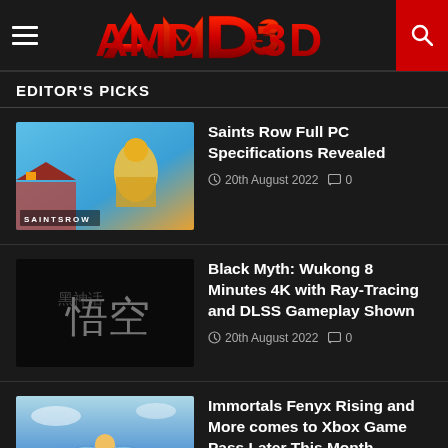AMD3D
EDITOR'S PICKS
[Figure (screenshot): Saints Row game banner thumbnail with colorful sky background]
Saints Row Full PC Specifications Revealed
20th August 2022   0
[Figure (screenshot): Black Myth: Wukong logo on dark background with Chinese characters]
Black Myth: Wukong 8 Minutes 4K with Ray-Tracing and DLSS Gameplay Shown
20th August 2022   0
[Figure (screenshot): Immortals Fenyx Rising game cover with blue sky and fantasy imagery]
Immortals Fenyx Rising and More comes to Xbox Game Pass Later This Month
17th August 2022   0